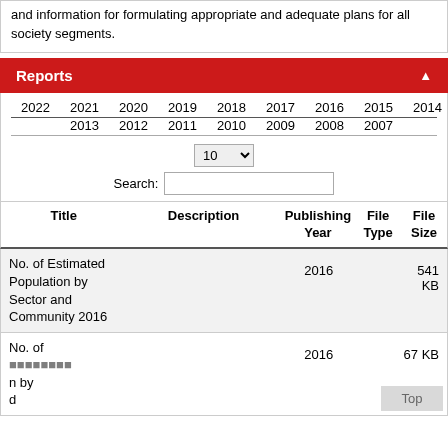and information for formulating appropriate and adequate plans for all society segments.
Reports
| Title | Description | Publishing Year | File Type | File Size |
| --- | --- | --- | --- | --- |
| No. of Estimated Population by Sector and Community 2016 |  | 2016 |  | 541 KB |
| No. of ... |  | 2016 |  | 67 KB |